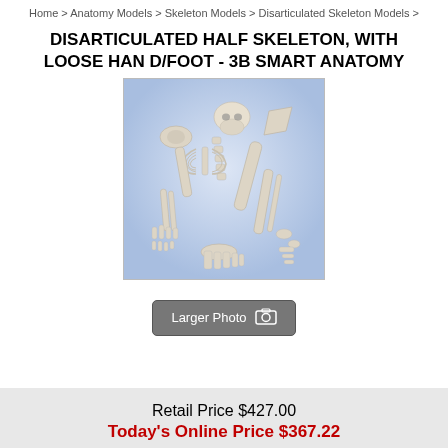Home > Anatomy Models > Skeleton Models > Disarticulated Skeleton Models >
DISARTICULATED HALF SKELETON, WITH LOOSE HAND/FOOT - 3B SMART ANATOMY
[Figure (photo): Product photo of a disarticulated half skeleton model with loose hand and foot bones spread out on a light blue/grey background]
Larger Photo [camera icon]
Retail Price $427.00
Today's Online Price $367.22